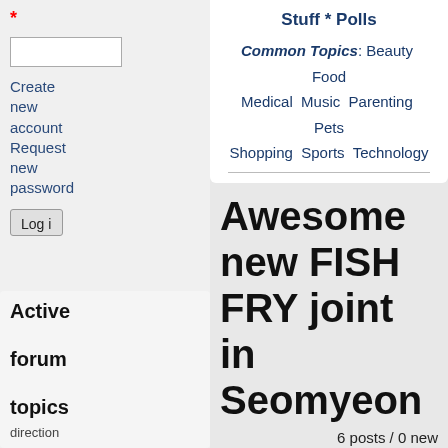*
Create new account
Request new password
Log in
Active forum topics
direction
Stuff * Polls
Common Topics: Beauty Food Medical Music Parenting Pets Shopping Sports Technology
Awesome new FISH FRY joint in Seomyeon
6 posts / 0 new
Log in or register to post comments
Last post